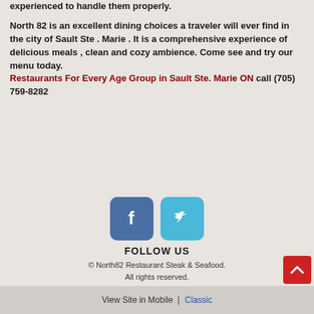experienced to handle them properly.
North 82 is an excellent dining choices a traveler will ever find in the city of Sault Ste . Marie . It is a comprehensive experience of delicious meals , clean and cozy ambience. Come see and try our menu today. Restaurants For Every Age Group in Sault Ste. Marie ON call (705) 759-8282
[Figure (infographic): Facebook and Twitter social media icons (rounded square buttons) side by side, followed by FOLLOW US text]
FOLLOW US
© North82 Restaurant Steak & Seafood. All rights reserved.
View Site in Mobile  |  Classic